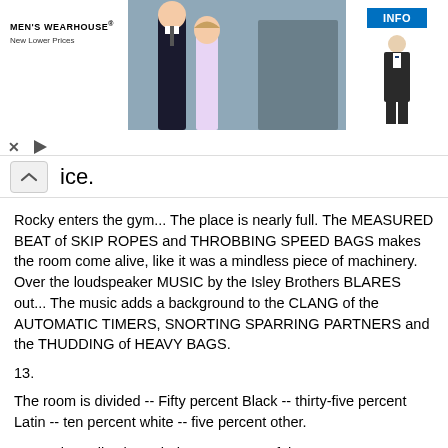[Figure (other): Men's Wearhouse advertisement banner showing a couple in formal wear and a man in a suit with an INFO button]
ice.
Rocky enters the gym... The place is nearly full. The MEASURED BEAT of SKIP ROPES and THROBBING SPEED BAGS makes the room come alive, like it was a mindless piece of machinery. Over the loudspeaker MUSIC by the Isley Brothers BLARES out... The music adds a background to the CLANG of the AUTOMATIC TIMERS, SNORTING SPARRING PARTNERS and the THUDDING of HEAVY BAGS.
13.
The room is divided -- Fifty percent Black -- thirty-five percent Latin -- ten percent white -- five percent other.
As Rocky walks through the gym many of the FIGHTERS pause to wave and yell greetings.
FIGHTER #1 Hey, hear ya knocked Spider Rice out in the